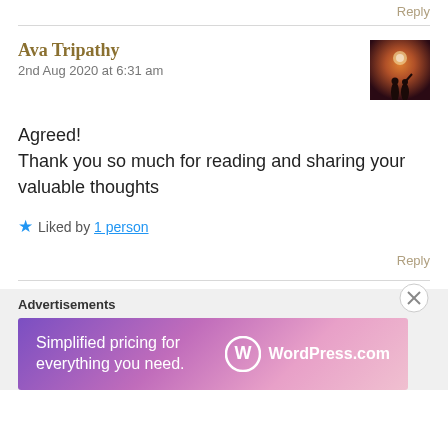Reply
Ava Tripathy
2nd Aug 2020 at 6:31 am
[Figure (photo): Small thumbnail avatar showing a silhouette against a glowing sky]
Agreed!
Thank you so much for reading and sharing your valuable thoughts
★ Liked by 1 person
Reply
Advertisements
[Figure (screenshot): WordPress.com advertisement banner: 'Simplified pricing for everything you need.' with WordPress.com logo on a purple-to-pink gradient background]